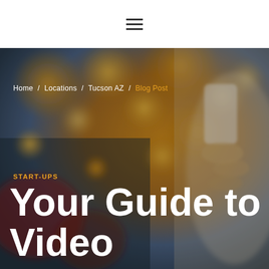[Figure (screenshot): Website header with hamburger menu icon on white background]
[Figure (photo): Blurred bokeh background showing city lights and a hand holding a smartphone, used as hero image overlay]
Home / Locations / Tucson AZ / Blog Post
START-UPS
Your Guide to Video